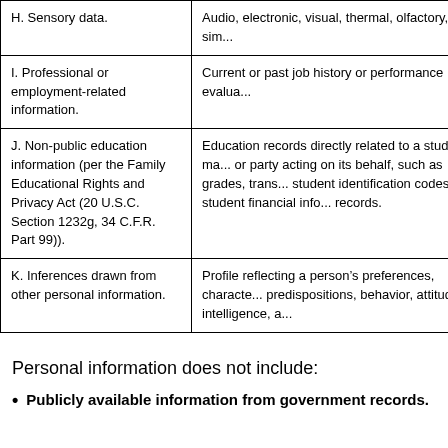| Category | Examples |
| --- | --- |
| H. Sensory data. | Audio, electronic, visual, thermal, olfactory, or sim... |
| I. Professional or employment-related information. | Current or past job history or performance evalua... |
| J. Non-public education information (per the Family Educational Rights and Privacy Act (20 U.S.C. Section 1232g, 34 C.F.R. Part 99)). | Education records directly related to a student ma... or party acting on its behalf, such as grades, trans... student identification codes, student financial info... records. |
| K. Inferences drawn from other personal information. | Profile reflecting a person’s preferences, characte... predispositions, behavior, attitudes, intelligence, a... |
Personal information does not include:
Publicly available information from government records.